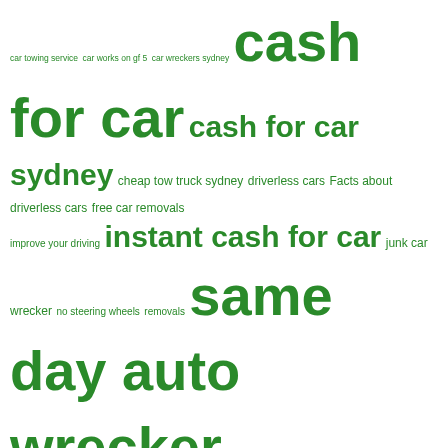car towing service car works gf 5 car wreckers sydney cash for car cash for car sydney cheap tow truck sydney driverless cars Facts about driverless cars free car removals improve your driving instant cash for car junk car wrecker no steering wheels removals same day auto wrecker same day car wreckers scrap car buyer sell my car sell my car sydney sell you car speedy car wreckers sydney cash for car towing of illegally parked cars nsw tow truck sydney prices used auto parts wrecker
| M | T | W | T | F | S | S |
| --- | --- | --- | --- | --- | --- | --- |
| 1 | 2 | 3 | 4 | 5 | 6 | 7 |
| 8 | 9 | 10 | 11 | 12 | 13 | 14 |